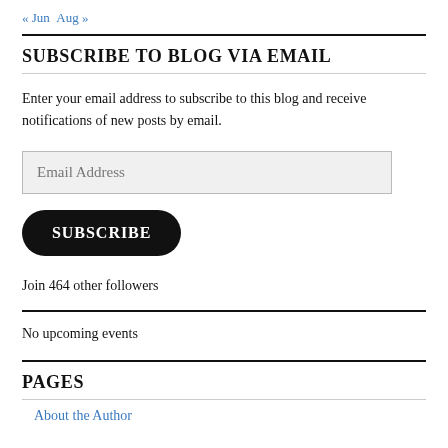« Jun  Aug »
SUBSCRIBE TO BLOG VIA EMAIL
Enter your email address to subscribe to this blog and receive notifications of new posts by email.
Email Address
SUBSCRIBE
Join 464 other followers
No upcoming events
PAGES
About the Author